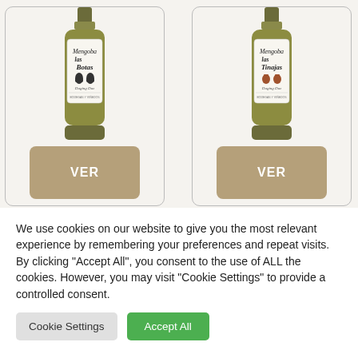[Figure (photo): Two wine bottles side by side in product cards. Left bottle shows 'Mengoba las Botas' label with decorative script and two boot icons. Right bottle shows 'Mengoba las Tinajas' label with decorative script and two clay vessel icons. Each card has a tan/gold 'VER' button below the bottle.]
We use cookies on our website to give you the most relevant experience by remembering your preferences and repeat visits. By clicking "Accept All", you consent to the use of ALL the cookies. However, you may visit "Cookie Settings" to provide a controlled consent.
Cookie Settings
Accept All